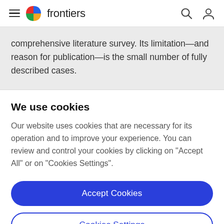frontiers
comprehensive literature survey. Its limitation—and reason for publication—is the small number of fully described cases.
We use cookies
Our website uses cookies that are necessary for its operation and to improve your experience. You can review and control your cookies by clicking on "Accept All" or on "Cookies Settings".
Accept Cookies
Cookies Settings